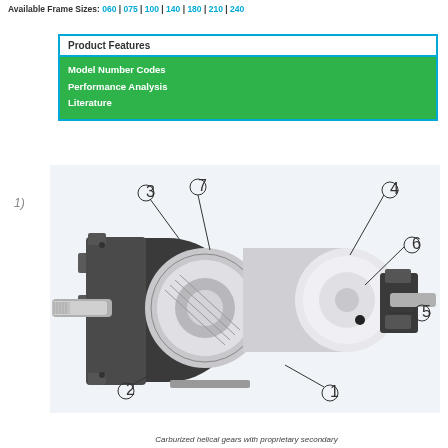Available Frame Sizes: 060 | 075 | 100 | 140 | 180 | 210 | 240
| Product Features |
| --- |
| Model Number Codes |
| Performance Analysis |
| Literature |
1)
[Figure (engineering-diagram): Cutaway/exploded isometric view of a helical planetary gearbox with numbered callouts 1-7 indicating internal components including carburized helical gears, housing, shafts, bearings, and mounting flanges.]
Carburized helical gears with proprietary secondary